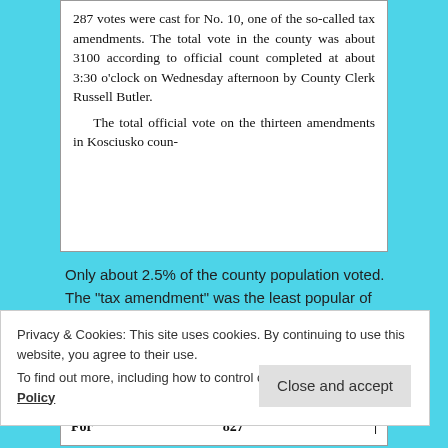[Figure (screenshot): Newspaper clipping showing text about votes cast for No. 10, tax amendments, total county vote of about 3100, completed at 3:30 o'clock Wednesday afternoon by County Clerk Russell Butler, and mention of the total official vote on thirteen amendments in Kosciusko county.]
Only about 2.5% of the county population voted. The “tax amendment” was the least popular of any.
[Figure (screenshot): Partial newspaper clipping showing the heading 'Amendment No. 1' and a row with 'For' and '827']
Privacy & Cookies: This site uses cookies. By continuing to use this website, you agree to their use.
To find out more, including how to control cookies, see here: Cookie Policy